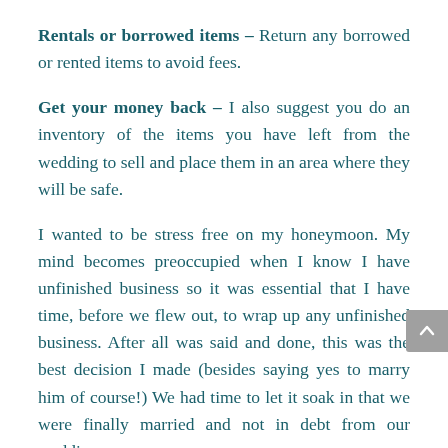Rentals or borrowed items – Return any borrowed or rented items to avoid fees.
Get your money back – I also suggest you do an inventory of the items you have left from the wedding to sell and place them in an area where they will be safe.
I wanted to be stress free on my honeymoon. My mind becomes preoccupied when I know I have unfinished business so it was essential that I have time, before we flew out, to wrap up any unfinished business. After all was said and done, this was the best decision I made (besides saying yes to marry him of course!) We had time to let it soak in that we were finally married and not in debt from our wedding.